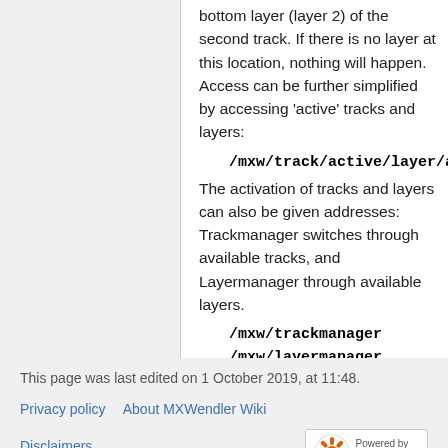bottom layer (layer 2) of the second track. If there is no layer at this location, nothing will happen. Access can be further simplified by accessing 'active' tracks and layers:
/mxw/track/active/layer/active/opacity
The activation of tracks and layers can also be given addresses: Trackmanager switches through available tracks, and Layermanager through available layers.
/mxw/trackmanager
/mxw/layermanager
This page was last edited on 1 October 2019, at 11:48.
Privacy policy   About MXWendler Wiki
Disclaimers